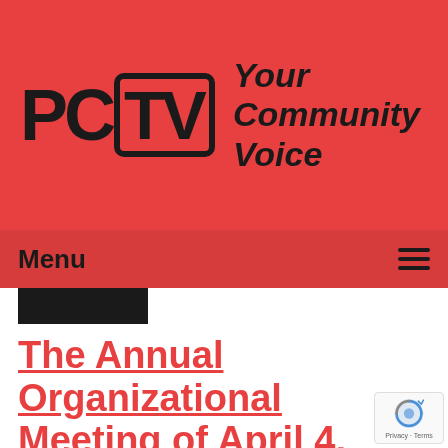[Figure (logo): PCTV logo with TV screen graphic and tagline 'Your Community Voice' on red background]
Menu ≡
[Figure (other): Black redacted rectangle]
The Annual Organizational Meeting of April 4, 2016
Airdate: 04/04/2016
Watched: 7 times